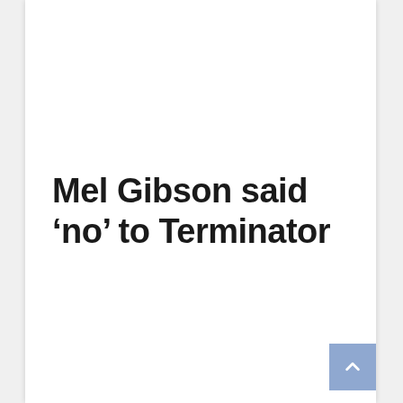Mel Gibson said ‘no’ to Terminator